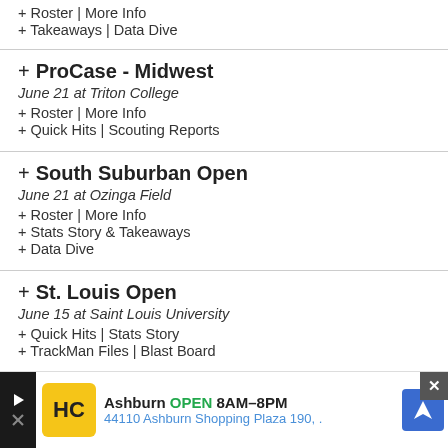+ Roster | More Info
+ Takeaways | Data Dive
+ ProCase - Midwest
June 21 at Triton College
+ Roster | More Info
+ Quick Hits | Scouting Reports
+ South Suburban Open
June 21 at Ozinga Field
+ Roster | More Info
+ Stats Story & Takeaways
+ Data Dive
+ St. Louis Open
June 15 at Saint Louis University
+ Quick Hits | Stats Story
+ TrackMan Files | Blast Board
+ Top Tier Scout Day
June 8 at The MAX
+ Roster | More Info
+ Stats Story
+ Chic...
June ...
[Figure (infographic): Advertisement banner: HC logo, Ashburn OPEN 8AM-8PM, 44110 Ashburn Shopping Plaza 190, navigation icon, close button]